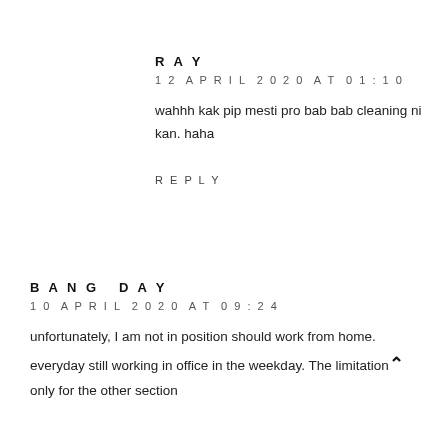RAY
12 APRIL 2020 AT 01:10
wahhh kak pip mesti pro bab bab cleaning ni kan. haha
REPLY
BANG DAY
10 APRIL 2020 AT 09:24
unfortunately, I am not in position should work from home. everyday still working in office in the weekday. The limitation only for the other section